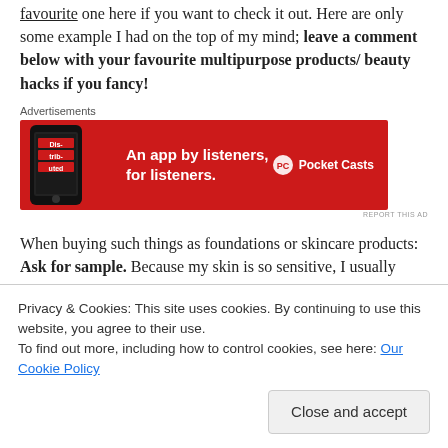favourite one here if you want to check it out. Here are only some example I had on the top of my mind; leave a comment below with your favourite multipurpose products/ beauty hacks if you fancy!
[Figure (other): Advertisement banner for Pocket Casts app: red background with phone image showing 'Distributed' app label, text 'An app by listeners, for listeners.' and Pocket Casts logo on right]
When buying such things as foundations or skincare products: Ask for sample. Because my skin is so sensitive, I usually stick to products I know will suit me or I ask for two or three day worth of samples. See what
Privacy & Cookies: This site uses cookies. By continuing to use this website, you agree to their use.
To find out more, including how to control cookies, see here: Our Cookie Policy